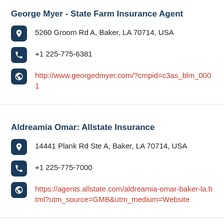George Myer - State Farm Insurance Agent
5260 Groom Rd A, Baker, LA 70714, USA
+1 225-775-6381
http://www.georgedmyer.com/?cmpid=c3as_blm_0001
Aldreamia Omar: Allstate Insurance
14441 Plank Rd Ste A, Baker, LA 70714, USA
+1 225-775-7000
https://agents.allstate.com/aldreamia-omar-baker-la.html?utm_source=GMB&utm_medium=Website